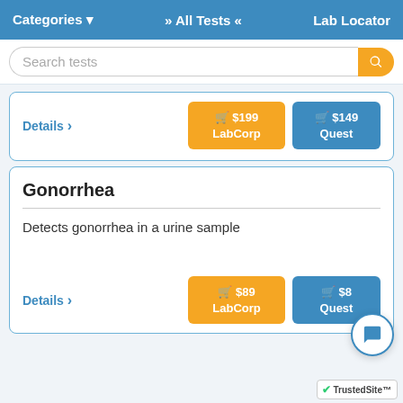Categories ▾   » All Tests «   Lab Locator
Search tests
Details ›   🛒 $199 LabCorp   🛒 $149 Quest
Gonorrhea
Detects gonorrhea in a urine sample
Details ›   🛒 $89 LabCorp   🛒 $89 Quest
[Figure (screenshot): TrustedSite badge and chat bubble overlay]